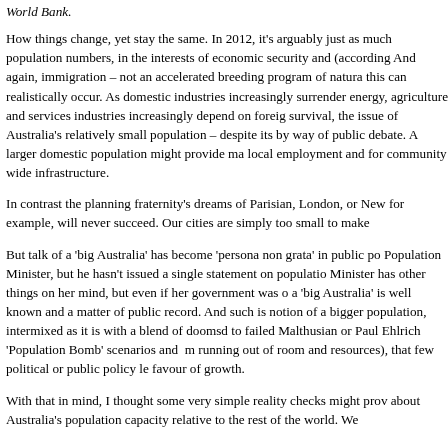World Bank.
How things change, yet stay the same. In 2012, it's arguably just as much population numbers, in the interests of economic security and (according And again, immigration – not an accelerated breeding program of natura this can realistically occur. As domestic industries increasingly surrender energy, agriculture and services industries increasingly depend on foreig survival, the issue of Australia's relatively small population – despite its by way of public debate. A larger domestic population might provide ma local employment and for community wide infrastructure.
In contrast the planning fraternity's dreams of Parisian, London, or New for example, will never succeed. Our cities are simply too small to make
But talk of a 'big Australia' has become 'persona non grata' in public po Population Minister, but he hasn't issued a single statement on populatio Minister has other things on her mind, but even if her government was o a 'big Australia' is well known and a matter of public record. And such is notion of a bigger population, intermixed as it is with a blend of doomsd to failed Malthusian or Paul Ehlrich 'Population Bomb' scenarios and m running out of room and resources), that few political or public policy le favour of growth.
With that in mind, I thought some very simple reality checks might prov about Australia's population capacity relative to the rest of the world. We